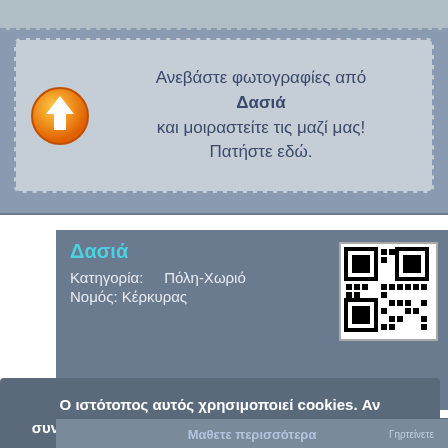[Figure (screenshot): Upload panel with orange upload button icon and Greek text prompting users to upload photos from Dasia and share them. Text reads: Ανεβάστε φωτογραφίες από Δασιά και μοιραστείτε τις μαζί μας! Πατήστε εδώ.]
Δασιά
Κατηγορία: Πόλη-Χωριό
Νομός: Κέρκυρας
[Figure (other): QR code in white box]
Ο ιστότοπος αυτός χρησιμοποιεί cookies. Αν συνεχίσετε να χρησιμοποιείτε το site, αποδέχεστε τη χρήση τους.
Μαθετε περισσότερα